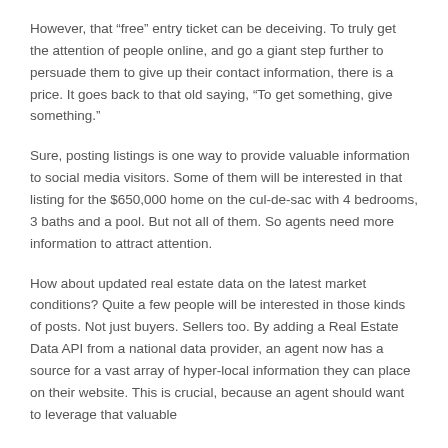However, that “free” entry ticket can be deceiving. To truly get the attention of people online, and go a giant step further to persuade them to give up their contact information, there is a price. It goes back to that old saying, “To get something, give something.”
Sure, posting listings is one way to provide valuable information to social media visitors. Some of them will be interested in that listing for the $650,000 home on the cul-de-sac with 4 bedrooms, 3 baths and a pool. But not all of them. So agents need more information to attract attention.
How about updated real estate data on the latest market conditions? Quite a few people will be interested in those kinds of posts. Not just buyers. Sellers too. By adding a Real Estate Data API from a national data provider, an agent now has a source for a vast array of hyper-local information they can place on their website. This is crucial, because an agent should want to leverage that valuable